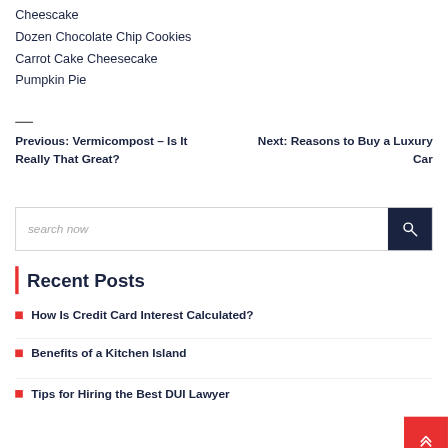Cheescake
Dozen Chocolate Chip Cookies
Carrot Cake Cheesecake
Pumpkin Pie
–
Previous: Vermicompost – Is It Really That Great?
Next: Reasons to Buy a Luxury Car
search now
Recent Posts
How Is Credit Card Interest Calculated?
Benefits of a Kitchen Island
Tips for Hiring the Best DUI Lawyer